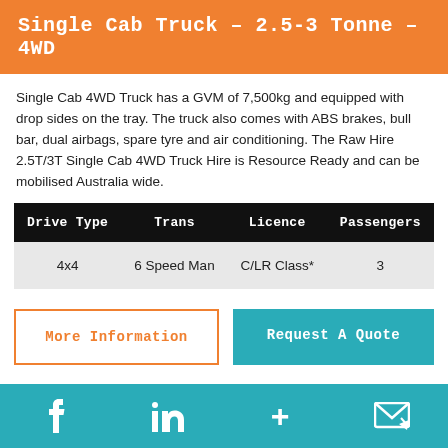Single Cab Truck – 2.5-3 Tonne – 4WD
Single Cab 4WD Truck has a GVM of 7,500kg and equipped with drop sides on the tray. The truck also comes with ABS brakes, bull bar, dual airbags, spare tyre and air conditioning. The Raw Hire 2.5T/3T Single Cab 4WD Truck Hire is Resource Ready and can be mobilised Australia wide.
| Drive Type | Trans | Licence | Passengers |
| --- | --- | --- | --- |
| 4x4 | 6 Speed Man | C/LR Class* | 3 |
More Information
Request A Quote
f  in  +  [email icon]